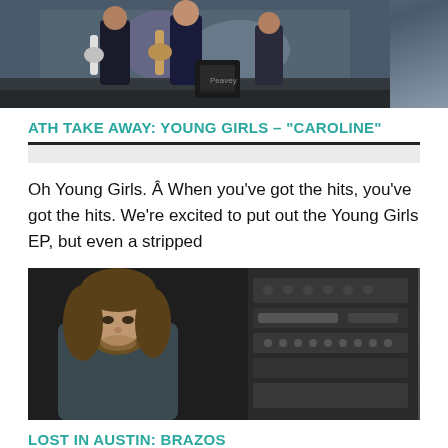[Figure (photo): Band playing guitars on stage with amplifiers and colorful painted backdrop]
ATH TAKE AWAY: YOUNG GIRLS – "CAROLINE"
Oh Young Girls. Â When you've got the hits, you've got the hits. We're excited to put out the Young Girls EP, but even a stripped
[Figure (photo): Man with long hair looking down in a recording studio surrounded by audio equipment and mixing boards]
LOST IN AUSTIN: BRAZOS